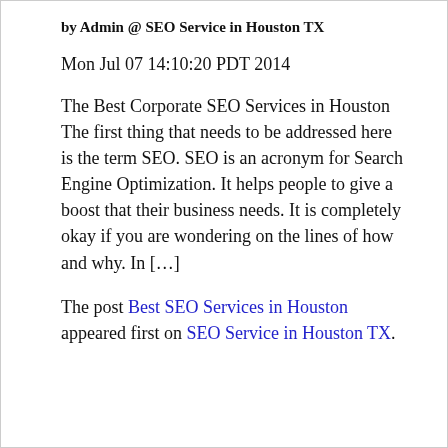by Admin @ SEO Service in Houston TX
Mon Jul 07 14:10:20 PDT 2014
The Best Corporate SEO Services in Houston The first thing that needs to be addressed here is the term SEO. SEO is an acronym for Search Engine Optimization. It helps people to give a boost that their business needs. It is completely okay if you are wondering on the lines of how and why. In […]
The post Best SEO Services in Houston appeared first on SEO Service in Houston TX.